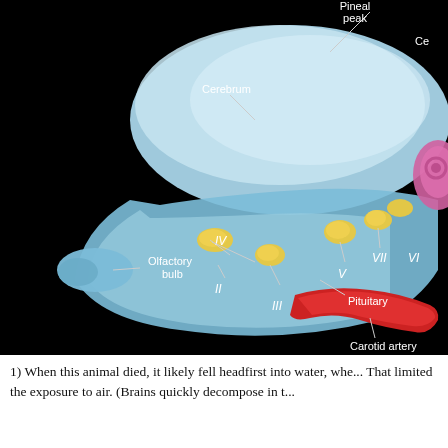[Figure (illustration): Labeled anatomical illustration of an animal brain viewed from the side against a black background. The brain is rendered in light blue with yellow cranial nerve ganglia visible. Labels point to: Pineal peak, Cerebrum, Olfactory bulb, Pituitary, Carotid artery (red), and cranial nerves II, III, IV, V, VII, VIII. A pink structure (possibly inner ear) is visible on the right edge.]
1) When this animal died, it likely fell headfirst into water, whe... That limited the exposure to air. (Brains quickly decompose in t...